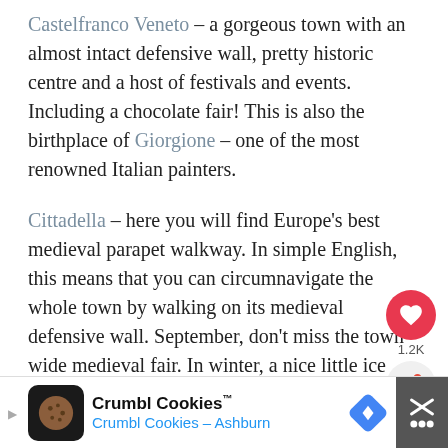Castelfranco Veneto – a gorgeous town with an almost intact defensive wall, pretty historic centre and a host of festivals and events. Including a chocolate fair! This is also the birthplace of Giorgione – one of the most renowned Italian painters.
Cittadella – here you will find Europe's best medieval parapet walkway. In simple English, this means that you can circumnavigate the whole town by walking on its medieval defensive wall. September, don't miss the town-wide medieval fair. In winter, a nice little ice rink is built on the
[Figure (other): Social widget with heart/like button showing 1.2K count and share button]
[Figure (other): Advertisement banner for Crumbl Cookies – Crumbl Cookies – Ashburn with cookie logo and navigation arrow icon]